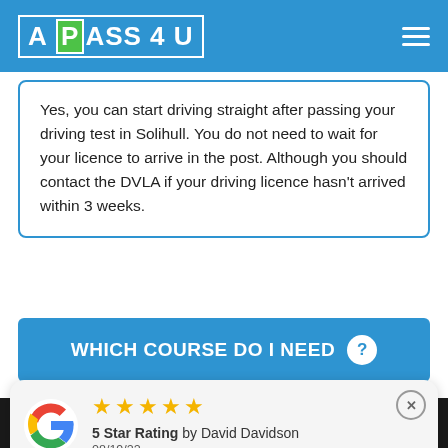APASS 4 U
Yes, you can start driving straight after passing your driving test in Solihull. You do not need to wait for your licence to arrive in the post. Although you should contact the DVLA if your driving licence hasn't arrived within 3 weeks.
WHICH COURSE DO I NEED ?
We use cookies to ensure that we give you the best experience on
5 Star Rating by David Davidson 08/19/22